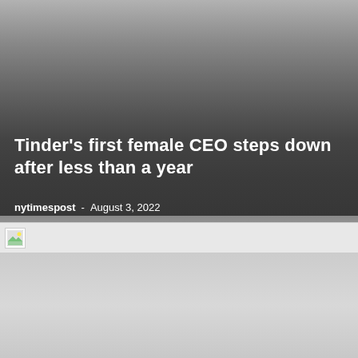Tinder's first female CEO steps down after less than a year
nytimespost  -  August 3, 2022
[Figure (photo): Broken image placeholder strip with a small image icon on the left side, light gray background]